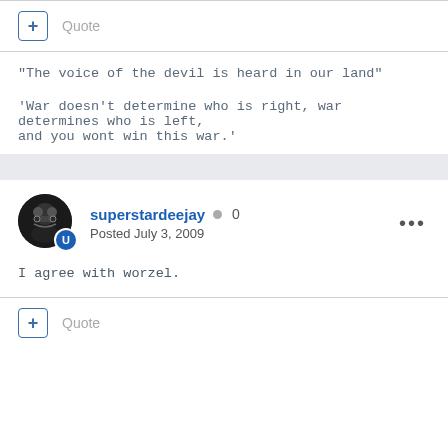"The voice of the devil is heard in our land"
'War doesn't determine who is right, war determines who is left, and you wont win this war.'
superstardeejay  0
Posted July 3, 2009
I agree with worzel.